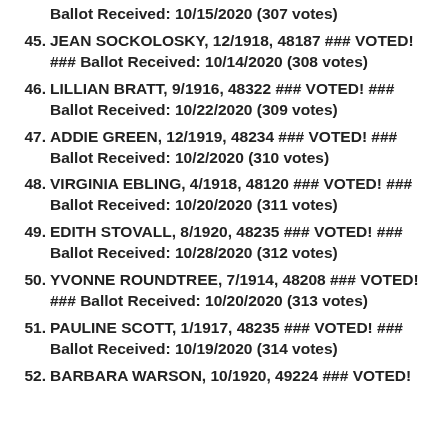Ballot Received: 10/15/2020 (307 votes)
45. JEAN SOCKOLOSKY, 12/1918, 48187 ### VOTED! ### Ballot Received: 10/14/2020 (308 votes)
46. LILLIAN BRATT, 9/1916, 48322 ### VOTED! ### Ballot Received: 10/22/2020 (309 votes)
47. ADDIE GREEN, 12/1919, 48234 ### VOTED! ### Ballot Received: 10/2/2020 (310 votes)
48. VIRGINIA EBLING, 4/1918, 48120 ### VOTED! ### Ballot Received: 10/20/2020 (311 votes)
49. EDITH STOVALL, 8/1920, 48235 ### VOTED! ### Ballot Received: 10/28/2020 (312 votes)
50. YVONNE ROUNDTREE, 7/1914, 48208 ### VOTED! ### Ballot Received: 10/20/2020 (313 votes)
51. PAULINE SCOTT, 1/1917, 48235 ### VOTED! ### Ballot Received: 10/19/2020 (314 votes)
52. BARBARA WARSON, 10/1920, 49224 ### VOTED!